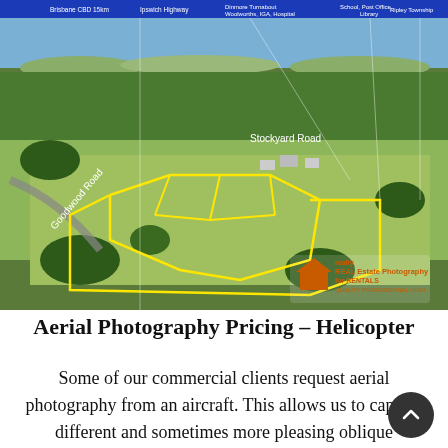[Figure (photo): Aerial photograph of rural farmland near Goodwood Road and Stockyard Road, with yellow boundary lines overlaid marking property lots, and a real estate photography company watermark in the bottom right corner. A blue banner with white text runs across the top showing distances to various landmarks.]
Aerial Photography Pricing – Helicopter
Some of our commercial clients request aerial photography from an aircraft. This allows us to capture different and sometimes more pleasing oblique perspectives of property and its surroundings. Pricing for aerial